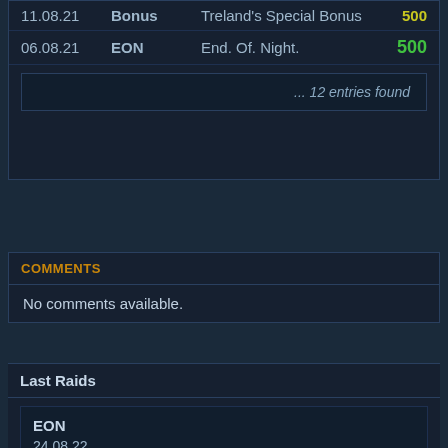| Date | Code | Description | Amount |
| --- | --- | --- | --- |
| 11.08.21 | Bonus | Treland's Special Bonus | 500 |
| 06.08.21 | EON | End. Of. Night. | 500 |
... 12 entries found
COMMENTS
No comments available.
Last Raids
EON
24.08.22
End of Night

ToV - KD1: Vindicator